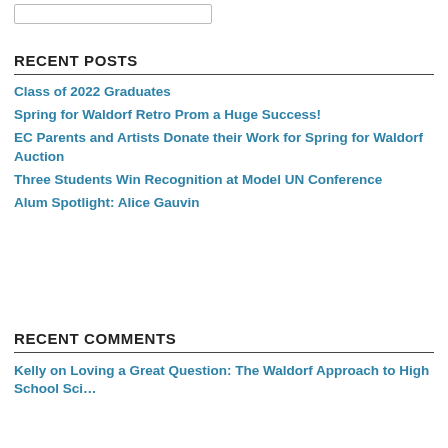RECENT POSTS
Class of 2022 Graduates
Spring for Waldorf Retro Prom a Huge Success!
EC Parents and Artists Donate their Work for Spring for Waldorf Auction
Three Students Win Recognition at Model UN Conference
Alum Spotlight: Alice Gauvin
RECENT COMMENTS
Kelly on Loving a Great Question: The Waldorf Approach to High School Science